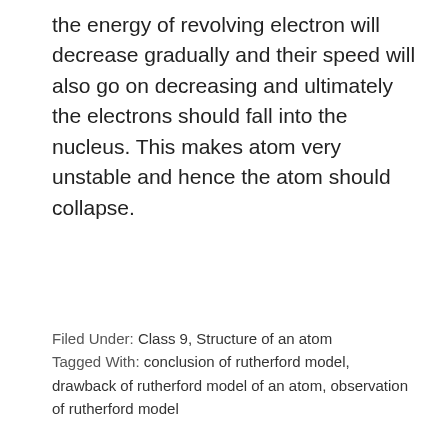the energy of revolving electron will decrease gradually and their speed will also go on decreasing and ultimately the electrons should fall into the nucleus. This makes atom very unstable and hence the atom should collapse.
Filed Under: Class 9, Structure of an atom
Tagged With: conclusion of rutherford model, drawback of rutherford model of an atom, observation of rutherford model